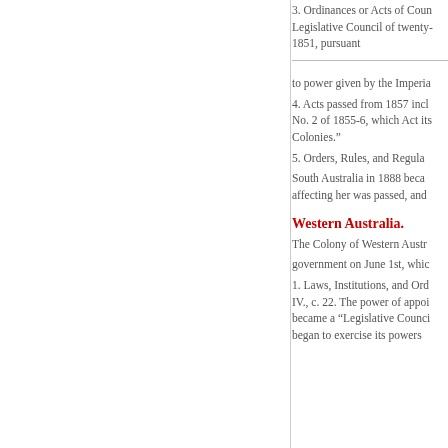3. Ordinances or Acts of Council passed by the Legislative Council of twenty-four members after 1851, pursuant
to power given by the Imperial
4. Acts passed from 1857 incl No. 2 of 1855-6, which Act its Colonies."
5. Orders, Rules, and Regula
South Australia in 1888 beca affecting her was passed, and
Western Australia.
The Colony of Western Austra
government on June 1st, whic
1. Laws, Institutions, and Ord IV., c. 22. The power of appoi became a "Legislative Counci began to exercise its powers